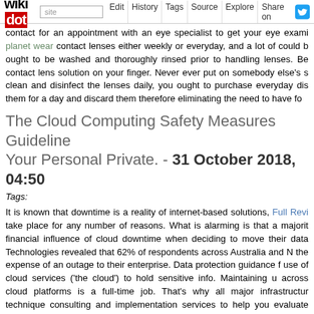wikidot | site | Edit | History | Tags | Source | Explore | Share on [Twitter]
contact for an appointment with an eye specialist to get your eye exami planet wear contact lenses either weekly or everyday, and a lot of could b ought to be washed and thoroughly rinsed prior to handling lenses. Be contact lens solution on your finger. Never ever put on somebody else's s clean and disinfect the lenses daily, you ought to purchase everyday dis them for a day and discard them therefore eliminating the need to have fo
The Cloud Computing Safety Measures Guideline Your Personal Private. - 31 October 2018, 04:50
Tags:
It is known that downtime is a reality of internet-based solutions, Full Revi take place for any number of reasons. What is alarming is that a majorit financial influence of cloud downtime when deciding to move their data Technologies revealed that 62% of respondents across Australia and N the expense of an outage to their enterprise. Data protection guidance f use of cloud services ('the cloud') to hold sensitive info. Maintaining u across cloud platforms is a full-time job. That's why all major infrastructur technique consulting and implementation services to help you evaluate even handle public cloud deployments.This very first principle dema infrastructure, you had a defined server, network, and application. It wa where everything existed in the network. With cloud services, that's no computing environments indicates you want to measure the availability, fu applications and make sure they are functioning within the preferred se most e mail servers limit sharing files to 25MB or less, the cloud tends to stored on the cloud to be accessed by anyone with authorization. Train yo